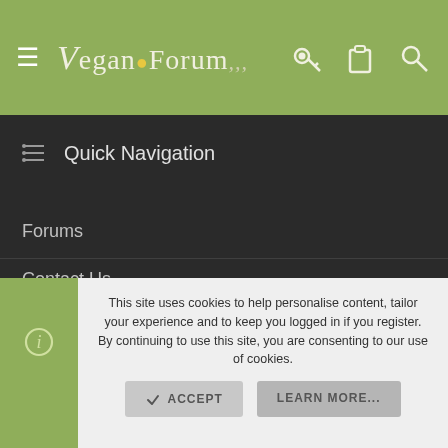Vegan Forum
Quick Navigation
Forums
Contact Us
User Menu
Login
This site uses cookies to help personalise content, tailor your experience and to keep you logged in if you register. By continuing to use this site, you are consenting to our use of cookies.
ACCEPT   LEARN MORE...